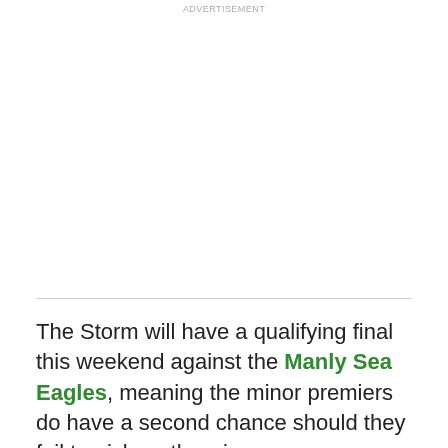ADVERTISEMENT
The Storm will have a qualifying final this weekend against the Manly Sea Eagles, meaning the minor premiers do have a second chance should they fail to pick up the win.
However, the last time a team who played in Week